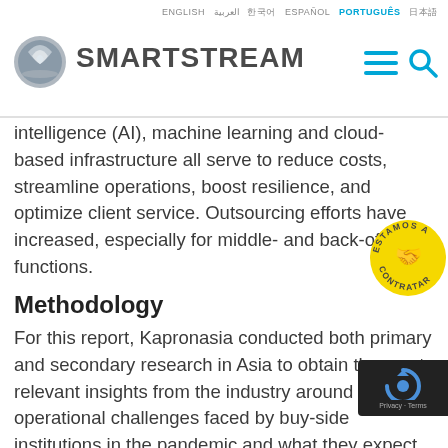ENGLISH | العربية | 한국어 | ESPAÑOL | PORTUGUÊS | 日本語 — SmartStream logo with navigation icons
intelligence (AI), machine learning and cloud-based infrastructure all serve to reduce costs, streamline operations, boost resilience, and optimize client service. Outsourcing efforts have increased, especially for middle- and back-office functions.
[Figure (illustration): Circular yellow badge with hand icon and text 'ESTAMOS A CONTRATAR']
Methodology
For this report, Kapronasia conducted both primary and secondary research in Asia to obtain the most relevant insights from the industry around operational challenges faced by buy-side institutions in the pandemic and what they expect in the future.
Secondary Research: Sources included but we...